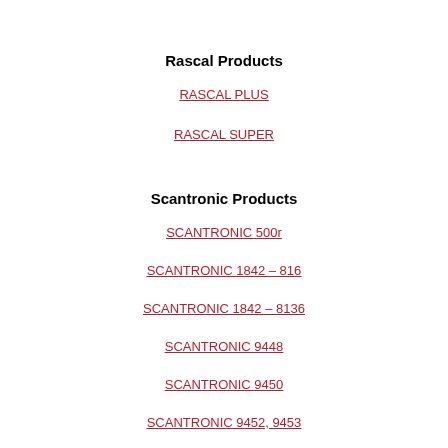Rascal Products
RASCAL PLUS
RASCAL SUPER
Scantronic Products
SCANTRONIC 500r
SCANTRONIC 1842 – 816
SCANTRONIC 1842 – 8136
SCANTRONIC 9448
SCANTRONIC 9450
SCANTRONIC 9452, 9453
SCANTRONIC 9454
SCANTRONIC 9600